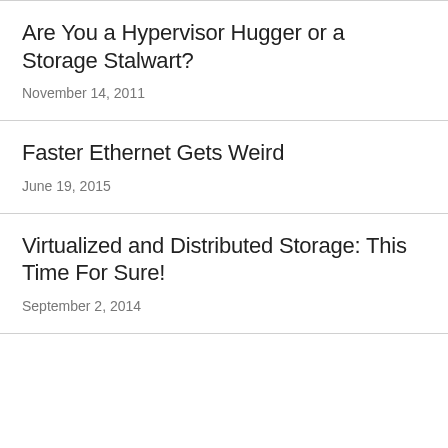Are You a Hypervisor Hugger or a Storage Stalwart?
November 14, 2011
Faster Ethernet Gets Weird
June 19, 2015
Virtualized and Distributed Storage: This Time For Sure!
September 2, 2014